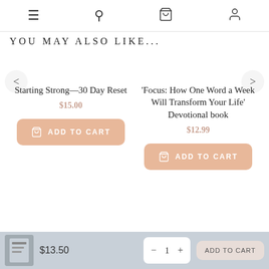Navigation bar with menu, search, cart, and account icons
YOU MAY ALSO LIKE...
Starting Strong—30 Day Reset
$15.00
ADD TO CART
'Focus: How One Word a Week Will Transform Your Life' Devotional book
$12.99
ADD TO CART
$13.50  −  1  +  ADD TO CART